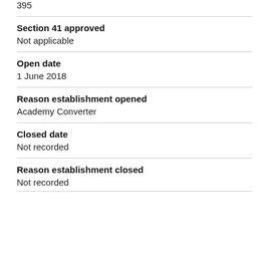395
Section 41 approved
Not applicable
Open date
1 June 2018
Reason establishment opened
Academy Converter
Closed date
Not recorded
Reason establishment closed
Not recorded